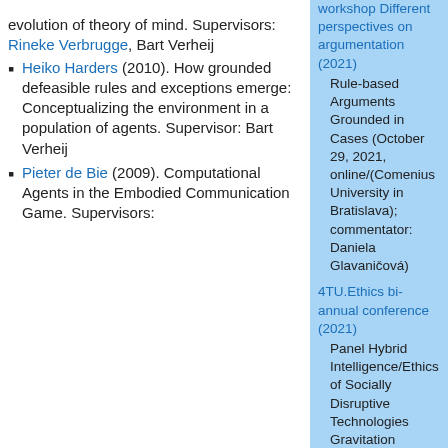evolution of theory of mind. Supervisors: Rineke Verbrugge, Bart Verheij
Heiko Harders (2010). How grounded defeasible rules and exceptions emerge: Conceptualizing the environment in a population of agents. Supervisor: Bart Verheij
Pieter de Bie (2009). Computational Agents in the Embodied Communication Game. Supervisors:
workshop Different perspectives on argumentation (2021)
Rule-based Arguments Grounded in Cases (October 29, 2021, online/(Comenius University in Bratislava); commentator: Daniela Glavaničová)
4TU.Ethics bi-annual conference (2021)
Panel Hybrid Intelligence/Ethics of Socially Disruptive Technologies Gravitation projects (HI/ESDiT) collaboration on AI, human values and